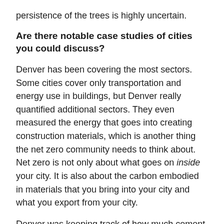persistence of the trees is highly uncertain.
Are there notable case studies of cities you could discuss?
Denver has been covering the most sectors. Some cities cover only transportation and energy use in buildings, but Denver really quantified additional sectors. They even measured the energy that goes into creating construction materials, which is another thing the net zero community needs to think about. Net zero is not only about what goes on inside your city. It is also about the carbon embodied in materials that you bring into your city and what you export from your city.
Denver was keeping track of how much cement was being used, how much carbon dioxide was needed to produce that cement, called embodied carbon; what